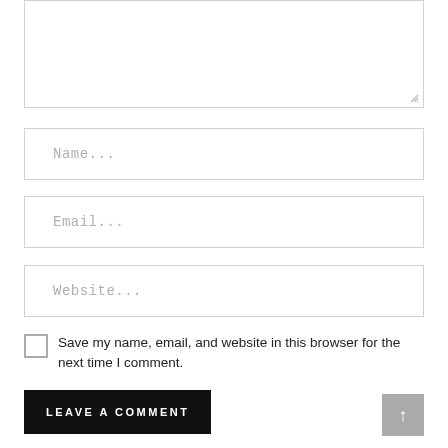[Figure (screenshot): A web comment form UI showing a textarea with resize handle, three input fields (Name, Email, Website), a checkbox with label, a submit button, and a scroll-to-top button.]
Name...
Email...
Website...
Save my name, email, and website in this browser for the next time I comment.
LEAVE A COMMENT